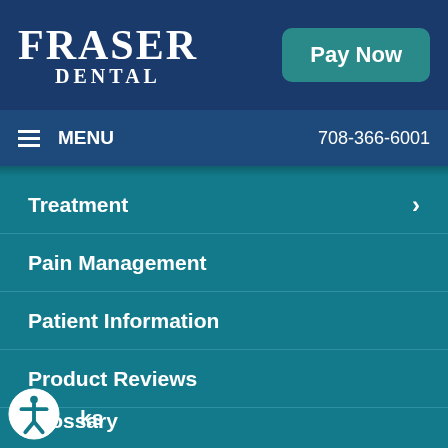FRASER DENTAL
Pay Now
MENU  708-366-6001
Treatment
Pain Management
Patient Information
Product Reviews
Glossary
...ks